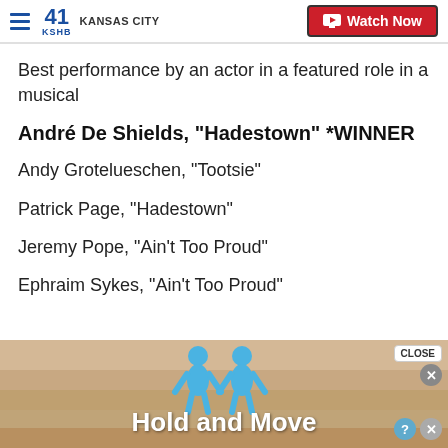41 KSHB KANSAS CITY | Watch Now
Best performance by an actor in a featured role in a musical
André De Shields, "Hadestown" *WINNER
Andy Grotelueschen, "Tootsie"
Patrick Page, "Hadestown"
Jeremy Pope, "Ain't Too Proud"
Ephraim Sykes, "Ain't Too Proud"
[Figure (screenshot): Ad banner at bottom showing animated figures and text 'Hold and Move' with close button overlay]